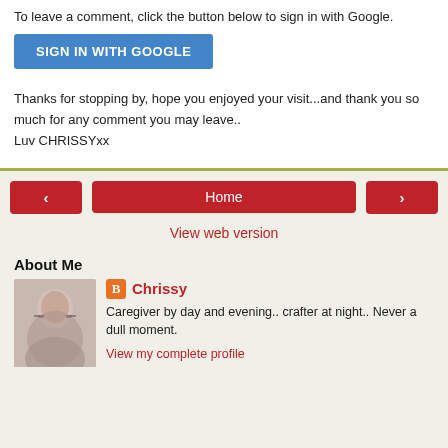To leave a comment, click the button below to sign in with Google.
SIGN IN WITH GOOGLE
Thanks for stopping by, hope you enjoyed your visit...and thank you so much for any comment you may leave..
Luv CHRISSYxx
‹
Home
›
View web version
About Me
[Figure (photo): Profile photo of Chrissy, a woman with short gray hair and glasses]
Chrissy
Caregiver by day and evening.. crafter at night.. Never a dull moment.
View my complete profile